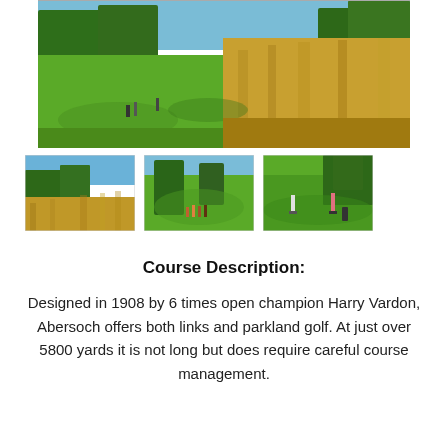[Figure (photo): Large panoramic photo of a golf course with green fairways, rough golden grass in the foreground, trees in the background, and golfers on the course.]
[Figure (photo): Thumbnail photo of golf course rough with golden grasses and trees.]
[Figure (photo): Thumbnail photo of golfers on a fairway with trees and hilly terrain.]
[Figure (photo): Thumbnail photo of two golfers on the green with a golf bag.]
Course Description:
Designed in 1908 by 6 times open champion Harry Vardon, Abersoch offers both links and parkland golf. At just over 5800 yards it is not long but does require careful course management.